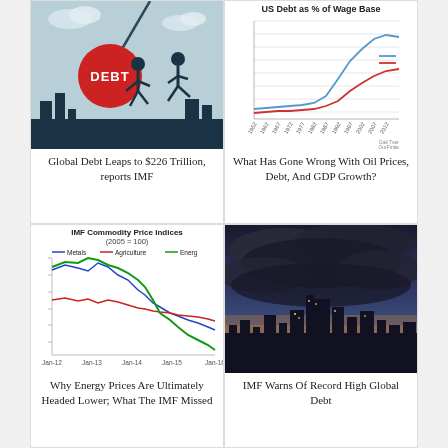[Figure (illustration): Illustration of cartoon figure being chased by a large red wrecking ball labeled DEBT, with city skyline in background]
Global Debt Leaps to $226 Trillion, reports IMF
[Figure (line-chart): Line chart showing US Debt as % of Wage Base from 1952 to 2012, with two lines (blue higher, red lower), credited to Gail Tverberg / OurFinite]
What Has Gone Wrong With Oil Prices, Debt, And GDP Growth?
[Figure (line-chart): Multi-line chart showing IMF Commodity Price Indices (2005=100) with three series: Metals (blue), Agriculture (red), Energy (green), from Jan-12 to Jan-16, all trending down]
Why Energy Prices Are Ultimately Headed Lower; What The IMF Missed
[Figure (photo): Dramatic storm photo showing dark clouds over a city skyline at dusk]
IMF Warns Of Record High Global Debt